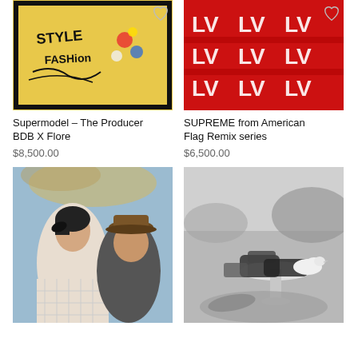[Figure (photo): Artwork with graffiti-style text reading 'FASHION' on yellow background, in black frame]
Supermodel – The Producer BDB X Flore
$8,500.00
[Figure (photo): Red Louis Vuitton monogram fabric/accessory with LV logos]
SUPREME from American Flag Remix series
$6,500.00
[Figure (photo): Color portrait photo of a woman with short brown hair and a man wearing a brown fedora hat]
[Figure (photo): Black and white photo of sneakers and a small white bird (dove) on a surface outdoors]